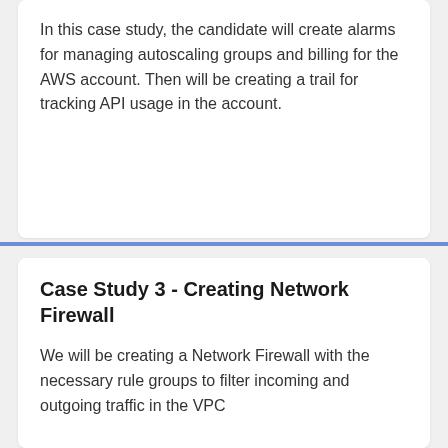In this case study, the candidate will create alarms for managing autoscaling groups and billing for the AWS account. Then will be creating a trail for tracking API usage in the account.
Case Study 3 - Creating Network Firewall
We will be creating a Network Firewall with the necessary rule groups to filter incoming and outgoing traffic in the VPC